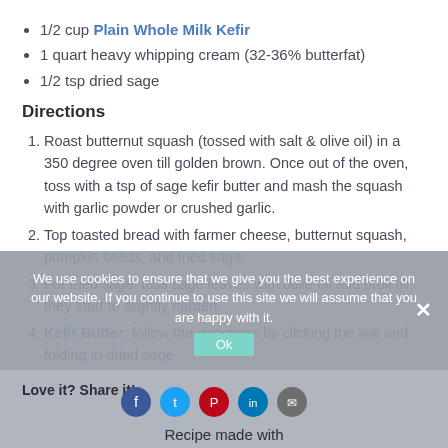1/2 cup Plain Whole Milk Kefir
1 quart heavy whipping cream (32-36% butterfat)
1/2 tsp dried sage
Directions
1. Roast butternut squash (tossed with salt & olive oil) in a 350 degree oven till golden brown. Once out of the oven, toss with a tsp of sage kefir butter and mash the squash with garlic powder or crushed garlic.
2. Top toasted bread with farmer cheese, butternut squash, pumpkin seeds, and fried sage.
3. For fried sage: toss sage leaves with olive oil and broil till they start to slightly harden.
4. Kefir Butter: follow the directions by clicking the link and folding in dried sage.
We use cookies to ensure that we give you the best experience on our website. If you continue to use this site we will assume that you are happy with it.
Love it? Share it!
Recipe made with